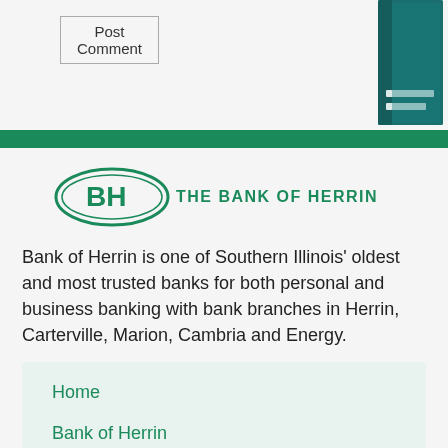Post Comment
[Figure (logo): Bank of Herrin logo with BH oval emblem and text THE BANK OF HERRIN]
Bank of Herrin is one of Southern Illinois' oldest and most trusted banks for both personal and business banking with bank branches in Herrin, Carterville, Marion, Cambria and Energy.
Home
Bank of Herrin
Personal
Business
Services